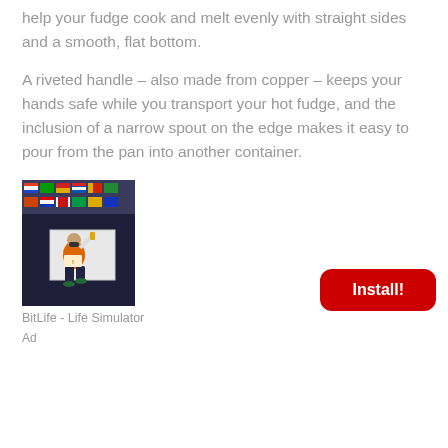help your fudge cook and melt evenly with straight sides and a smooth, flat bottom.
A riveted handle – also made from copper – keeps your hands safe while you transport your hot fudge, and the inclusion of a narrow spout on the edge makes it easy to pour from the pan into another container.
[Figure (photo): A man wearing an orange safety vest and face mask, kneeling and working on a white surface, with colorful international flags in the background inside a large venue.]
BitLife - Life Simulator
Install!
Ad